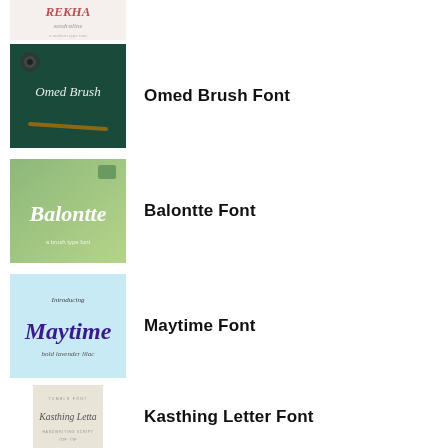[Figure (illustration): Partial thumbnail of a font preview (Rekha/seedraline script font) with pinkish text on light background]
Omed Brush Font
[Figure (illustration): Thumbnail showing 'Omed Brush' cursive text in white on dark teal/green background with a pencil]
Balontte Font
[Figure (illustration): Thumbnail showing 'Balontte' script font in white on green background]
Maytime Font
[Figure (illustration): Thumbnail showing 'Maytime' bold brush font in purple on light blue background]
Kasthing Letter Font
[Figure (illustration): Thumbnail showing 'Kasthing Letter' handwriting font on light gray/beige background]